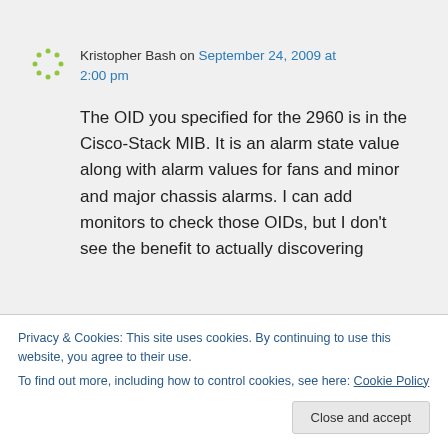Kristopher Bash on September 24, 2009 at 2:00 pm
The OID you specified for the 2960 is in the Cisco-Stack MIB. It is an alarm state value along with alarm values for fans and minor and major chassis alarms. I can add monitors to check those OIDs, but I don't see the benefit to actually discovering
Privacy & Cookies: This site uses cookies. By continuing to use this website, you agree to their use.
To find out more, including how to control cookies, see here: Cookie Policy
for the 2950? That is in the Cisco-Flash Mib